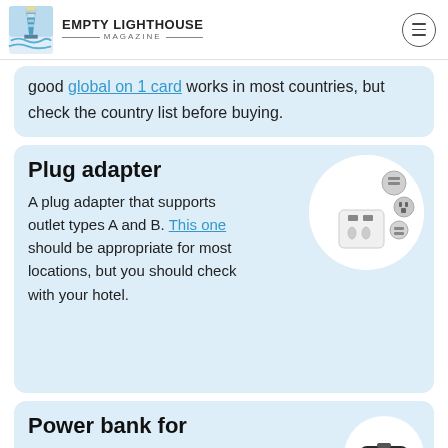Empty Lighthouse Magazine
good global on 1 card works in most countries, but check the country list before buying.
Plug adapter
A plug adapter that supports outlet types A and B. This one should be appropriate for most locations, but you should check with your hotel.
[Figure (photo): A white multi-country plug adapter with multiple interchangeable plug heads (Types A, B, C, G) arranged in a circle on a white circular background.]
Power bank for